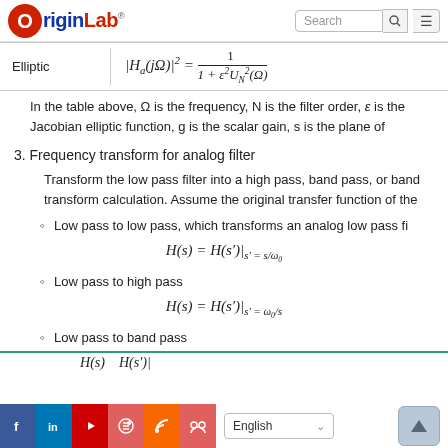OriginLab [Search bar] [Menu]
| Filter Type | Formula |
| --- | --- |
| Elliptic | |H_a(jΩ)|^2 = 1/(1 + ε²U_N²(Ω)) |
In the table above, Ω is the frequency, N is the filter order, ε is the Jacobian elliptic function, g is the scalar gain, s is the plane of
3. Frequency transform for analog filter
Transform the low pass filter into a high pass, band pass, or band transform calculation. Assume the original transfer function of the
Low pass to low pass, which transforms an analog low pass fi
Low pass to high pass
Low pass to band pass
Facebook LinkedIn YouTube Settings RSS Group | English | Up